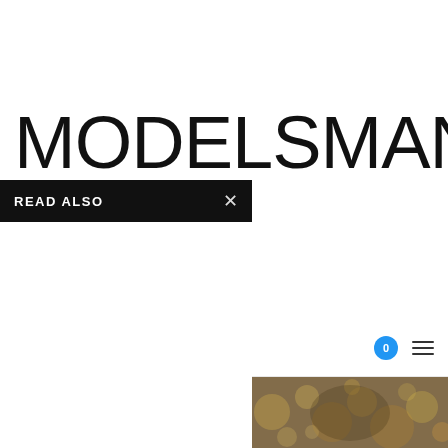MODELSMANIA
READ ALSO
[Figure (screenshot): Website screenshot showing MODELSMANIA logo, a READ ALSO panel with a close (X) button, a cart badge showing 0, and a hamburger menu icon on the right side, plus a partially visible photo at the bottom right.]